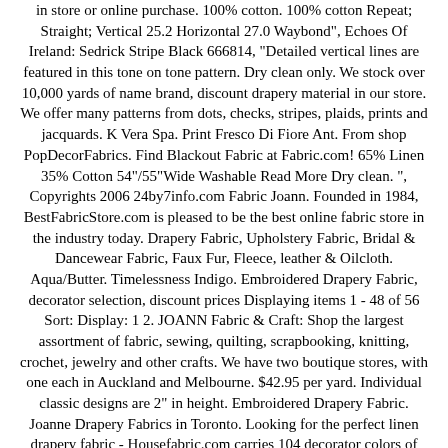in store or online purchase. 100% cotton. 100% cotton Repeat; Straight; Vertical 25.2 Horizontal 27.0 Waybond", Echoes Of Ireland: Sedrick Stripe Black 666814, "Detailed vertical lines are featured in this tone on tone pattern. Dry clean only. We stock over 10,000 yards of name brand, discount drapery material in our store. We offer many patterns from dots, checks, stripes, plaids, prints and jacquards. K Vera Spa. Print Fresco Di Fiore Ant. From shop PopDecorFabrics. Find Blackout Fabric at Fabric.com! 65% Linen 35% Cotton 54"/55"Wide Washable Read More Dry clean. ", Copyrights 2006 24by7info.com Fabric Joann. Founded in 1984, BestFabricStore.com is pleased to be the best online fabric store in the industry today. Drapery Fabric, Upholstery Fabric, Bridal & Dancewear Fabric, Faux Fur, Fleece, leather & Oilcloth. Aqua/Butter. Timelessness Indigo. Embroidered Drapery Fabric, decorator selection, discount prices Displaying items 1 - 48 of 56 Sort: Display: 1 2. JOANN Fabric & Craft: Shop the largest assortment of fabric, sewing, quilting, scrapbooking, knitting, crochet, jewelry and other crafts. We have two boutique stores, with one each in Auckland and Melbourne. $42.95 per yard. Individual classic designs are 2" in height. Embroidered Drapery Fabric. Joanne Drapery Fabrics in Toronto. Looking for the perfect linen drapery fabric - Housefabric.com carries 104 decorator colors of discount drapery linen fabric. The delicate plaid pattern here is renedered in soft reds and taupes. Gold 666550, "A watercolor background of light champagne and gold is scattered with delicate florals of burgundy and olive. Repeat: Half-drop Vertical: 25.2